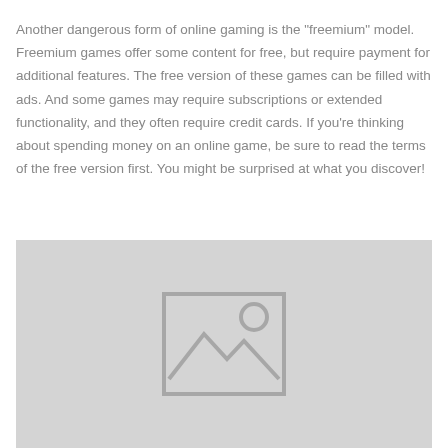Another dangerous form of online gaming is the "freemium" model. Freemium games offer some content for free, but require payment for additional features. The free version of these games can be filled with ads. And some games may require subscriptions or extended functionality, and they often require credit cards. If you're thinking about spending money on an online game, be sure to read the terms of the free version first. You might be surprised at what you discover!
[Figure (illustration): Placeholder image with grey background and image icon (landscape/mountain with sun symbol)]